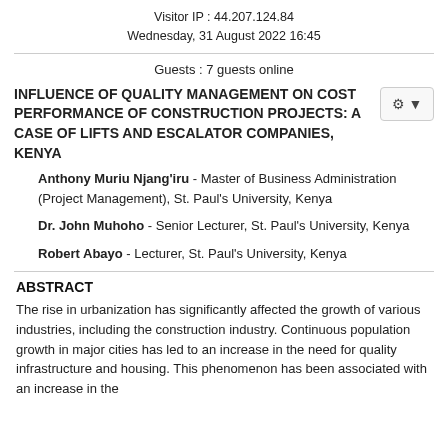Visitor IP : 44.207.124.84
Wednesday, 31 August 2022 16:45
Guests : 7 guests online
INFLUENCE OF QUALITY MANAGEMENT ON COST PERFORMANCE OF CONSTRUCTION PROJECTS: A CASE OF LIFTS AND ESCALATOR COMPANIES, KENYA
Anthony Muriu Njang'iru - Master of Business Administration (Project Management), St. Paul's University, Kenya
Dr. John Muhoho - Senior Lecturer, St. Paul's University, Kenya
Robert Abayo - Lecturer, St. Paul's University, Kenya
ABSTRACT
The rise in urbanization has significantly affected the growth of various industries, including the construction industry. Continuous population growth in major cities has led to an increase in the need for quality infrastructure and housing. This phenomenon has been associated with an increase in the